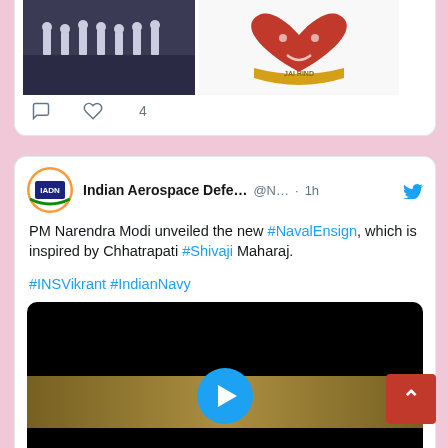[Figure (screenshot): Top of a Twitter/social media feed showing a partial tweet with two images (left: people in white uniforms on a dark floor; right: decorative emblem with red heart and gold ribbon) and action icons with 4 likes.]
[Figure (screenshot): Twitter tweet from Indian Aerospace Defe... @N... · 1h with text: PM Narendra Modi unveiled the new #NavalEnsign, which is inspired by Chhatrapati #Shivaji Maharaj. #INSVikrant #IndianNavy. Below is a video thumbnail with a play button on a dark/gold background. A red scroll-to-top button appears bottom right.]